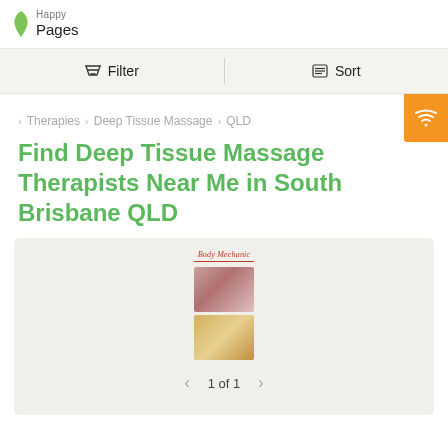Pages
Filter  Sort
> Therapies > Deep Tissue Massage > QLD
Find Deep Tissue Massage Therapists Near Me in South Brisbane QLD
[Figure (screenshot): Listing card showing a business called Body Mechanic with two thumbnail photos of massage services, and a pagination control showing 1 of 1]